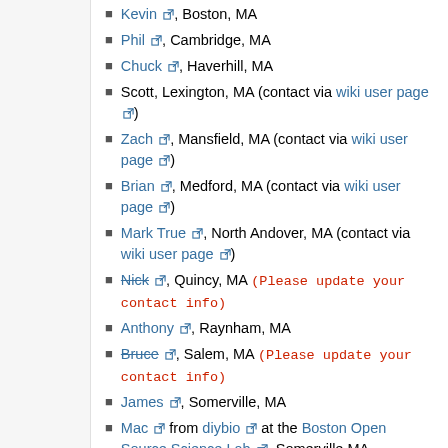Kevin, Boston, MA
Phil, Cambridge, MA
Chuck, Haverhill, MA
Scott, Lexington, MA (contact via wiki user page)
Zach, Mansfield, MA (contact via wiki user page)
Brian, Medford, MA (contact via wiki user page)
Mark True, North Andover, MA (contact via wiki user page)
Nick, Quincy, MA (Please update your contact info)
Anthony, Raynham, MA
Bruce, Salem, MA (Please update your contact info)
James, Somerville, MA
Mac from diybio at the Boston Open Source Science Lab, Somerville MA
Stokes, Somerville, MA
David, Weston, MA
Michigan